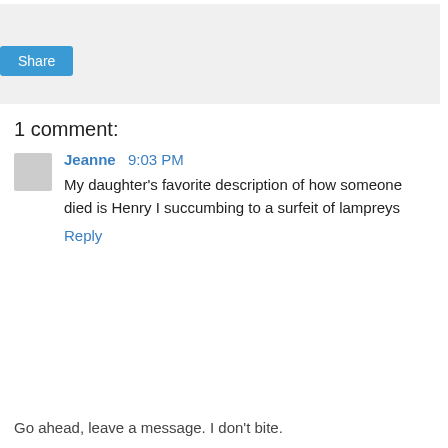[Figure (other): Share button widget area with light gray background]
1 comment:
Jeanne  9:03 PM
My daughter's favorite description of how someone died is Henry I succumbing to a surfeit of lampreys
Reply
Go ahead, leave a message. I don't bite.